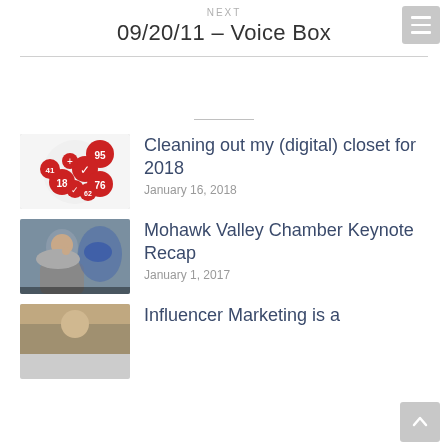NEXT
09/20/11 – Voice Box
Cleaning out my (digital) closet for 2018
January 16, 2018
Mohawk Valley Chamber Keynote Recap
January 1, 2017
Influencer Marketing is a